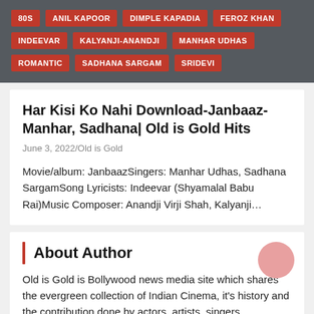80S
ANIL KAPOOR
DIMPLE KAPADIA
FEROZ KHAN
INDEEVAR
KALYANJI-ANANDJI
MANHAR UDHAS
ROMANTIC
SADHANA SARGAM
SRIDEVI
Har Kisi Ko Nahi Download-Janbaaz-Manhar, Sadhana| Old is Gold Hits
June 3, 2022/Old is Gold
Movie/album: JanbaazSingers: Manhar Udhas, Sadhana SargamSong Lyricists: Indeevar (Shyamalal Babu Rai)Music Composer: Anandji Virji Shah, Kalyanji…
About Author
Old is Gold is Bollywood news media site which shares the evergreen collection of Indian Cinema, it's history and the contribution done by actors, artists, singers, musicians and more. Old is Gold solely believes in solidarity and how